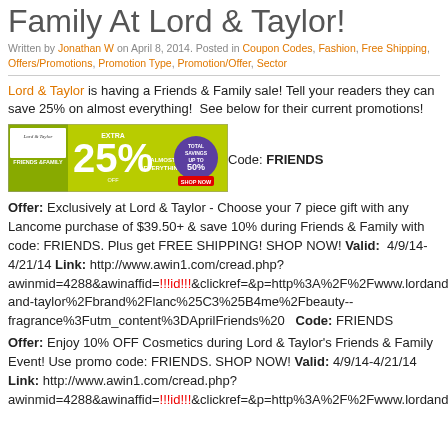Family At Lord & Taylor!
Written by Jonathan W on April 8, 2014. Posted in Coupon Codes, Fashion, Free Shipping, Offers/Promotions, Promotion Type, Promotion/Offer, Sector
Lord & Taylor is having a Friends & Family sale! Tell your readers they can save 25% on almost everything!  See below for their current promotions!
[Figure (illustration): Lord & Taylor Friends & Family sale banner showing 25% extra off almost everything and total savings up to 50%]
Code: FRIENDS
Offer: Exclusively at Lord & Taylor - Choose your 7 piece gift with any Lancome purchase of $39.50+ & save 10% during Friends & Family with code: FRIENDS. Plus get FREE SHIPPING! SHOP NOW! Valid: 4/9/14-4/21/14 Link: http://www.awin1.com/cread.php?awinmid=4288&awinaffid=!!!id!!!&clickref=&p=http%3A%2F%2Fwww.lordandtaylor.com%2Fwebapp%2Fwcs%2Fstores%2Fservlet%2Fen%2Flord-and-taylor%2Fbrand%2Flanc%25C3%25B4me%2Fbeauty--fragrance%3Futm_content%3DAprilFriends%20  Code: FRIENDS
Offer: Enjoy 10% OFF Cosmetics during Lord & Taylor's Friends & Family Event! Use promo code: FRIENDS. SHOP NOW! Valid: 4/9/14-4/21/14 Link: http://www.awin1.com/cread.php?awinmid=4288&awinaffid=!!!id!!!&clickref=&p=http%3A%2F%2Fwww.lordandtaylor.com%2Fwebapp%2Fwcs%2Fstores%2Fservlet%2Fen%2Flord-